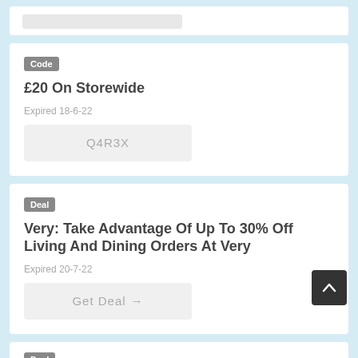[Figure (other): Top partial coupon card with a grey placeholder bar]
Code
£20 On Storewide
Expired 18-6-22
Q4R3X
Deal
Very: Take Advantage Of Up To 30% Off Living And Dining Orders At Very
Expired 20-7-22
Get Deal →
[Figure (other): Scroll-to-top button (dark square with upward chevron)]
Deal (partial bottom card badge)